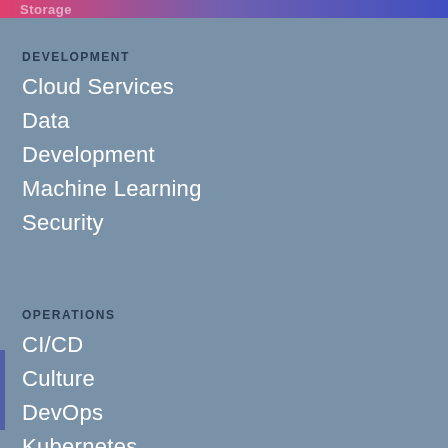Storage
DEVELOPMENT
Cloud Services
Data
Development
Machine Learning
Security
OPERATIONS
CI/CD
Culture
DevOps
Kubernetes
Monitoring